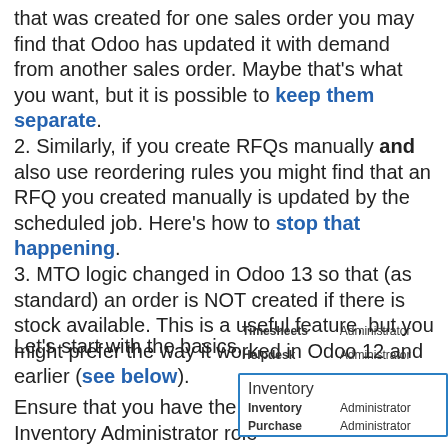that was created for one sales order you may find that Odoo has updated it with demand from another sales order. Maybe that's what you want, but it is possible to keep them separate. 2. Similarly, if you create RFQs manually and also use reordering rules you might find that an RFQ you created manually is updated by the scheduled job. Here's how to stop that happening. 3. MTO logic changed in Odoo 13 so that (as standard) an order is NOT created if there is stock available. This is a useful feature, but you might prefer the way it worked in Odoo 12 and earlier (see below).
Let's start with the basics.
Ensure that you have the Inventory Administrator role
| Timesheets | Administrator |
| Helpdesk | Administrator |
| Inventory |  |
| --- | --- |
| Inventory | Administrator |
| Purchase | Administrator |